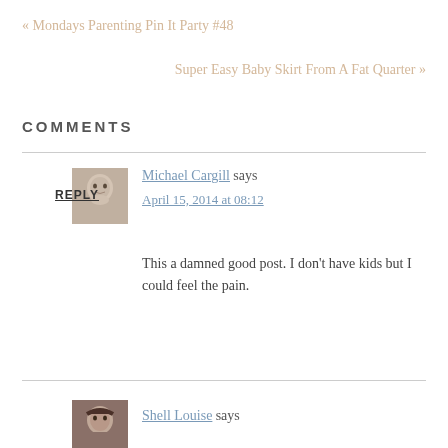« Mondays Parenting Pin It Party #48
Super Easy Baby Skirt From A Fat Quarter »
COMMENTS
Michael Cargill says
April 15, 2014 at 08:12
This a damned good post. I don't have kids but I could feel the pain.
REPLY
Shell Louise says